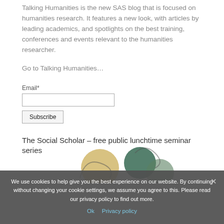Talking Humanities is the new SAS blog that is focused on humanities research. It features a new look, with articles by leading academics, and spotlights on the best training, conferences and events relevant to the humanities researcher.
Go to Talking Humanities…
Email*
The Social Scholar – free public lunchtime seminar series
We use cookies to help give you the best experience on our website. By continuing without changing your cookie settings, we assume you agree to this. Please read our privacy policy to find out more.
Ok   Privacy policy